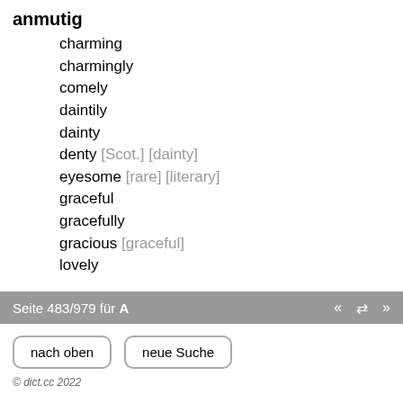anmutig
charming
charmingly
comely
daintily
dainty
denty [Scot.] [dainty]
eyesome [rare] [literary]
graceful
gracefully
gracious [graceful]
lovely
Seite 483/979 für A  «  ⇄  »
nach oben   neue Suche
© dict.cc 2022